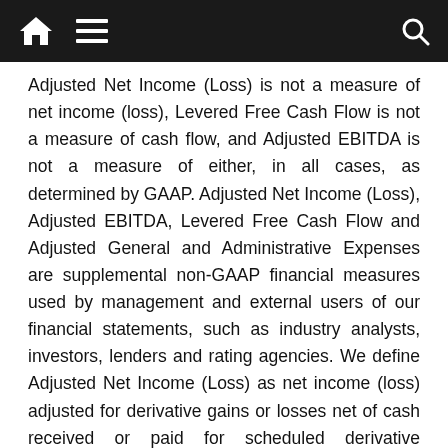[Navigation bar with home, menu, and search icons]
Adjusted Net Income (Loss) is not a measure of net income (loss), Levered Free Cash Flow is not a measure of cash flow, and Adjusted EBITDA is not a measure of either, in all cases, as determined by GAAP. Adjusted Net Income (Loss), Adjusted EBITDA, Levered Free Cash Flow and Adjusted General and Administrative Expenses are supplemental non-GAAP financial measures used by management and external users of our financial statements, such as industry analysts, investors, lenders and rating agencies. We define Adjusted Net Income (Loss) as net income (loss) adjusted for derivative gains or losses net of cash received or paid for scheduled derivative settlements, other unusual, out-of-period and infrequent items, and the income tax expense or benefit of these adjustments using our effective tax rate. We define Adjusted EBITDA as earnings before